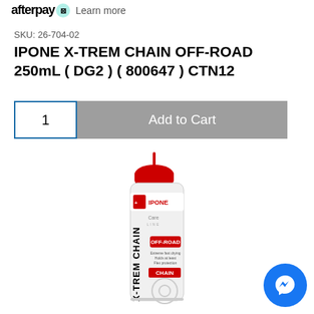afterpay  Learn more
SKU: 26-704-02
IPONE X-TREM CHAIN OFF-ROAD 250mL ( DG2 ) ( 800647 ) CTN12
1  Add to Cart
[Figure (photo): IPONE X-TREM Chain Off-Road 250mL spray can with red nozzle cap, white body, IPONE logo, Care Line branding, OFF-ROAD label in red, and X-TREM CHAIN CHAIN labels.]